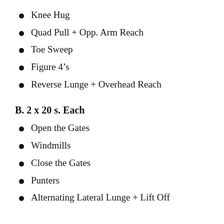Knee Hug
Quad Pull + Opp. Arm Reach
Toe Sweep
Figure 4’s
Reverse Lunge + Overhead Reach
B. 2 x 20 s. Each
Open the Gates
Windmills
Close the Gates
Punters
Alternating Lateral Lunge + Lift Off